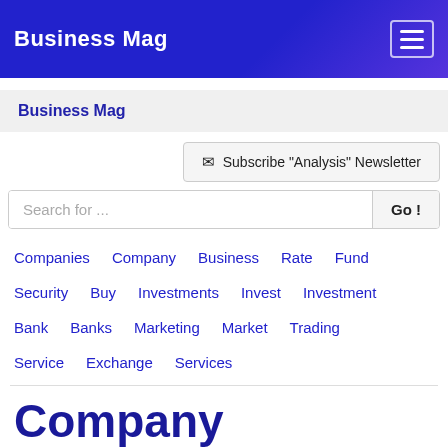Business Mag
Business Mag
Subscribe "Analysis" Newsletter
Search for ...
Companies  Company  Business  Rate  Fund
Security  Buy  Investments  Invest  Investment
Bank  Banks  Marketing  Market  Trading
Service  Exchange  Services
Company